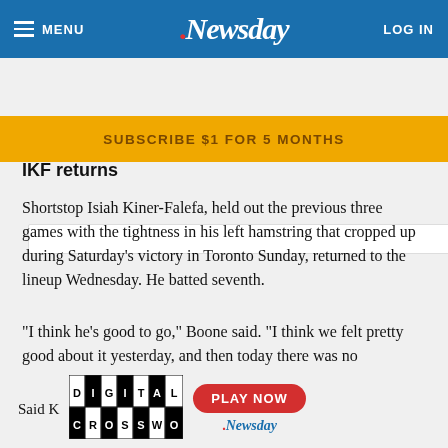MENU | Newsday | LOG IN
SUBSCRIBE $1 FOR 5 MONTHS
IKF returns
Shortstop Isiah Kiner-Falefa, held out the previous three games with the tightness in his left hamstring that cropped up during Saturday's victory in Toronto Sunday, returned to the lineup Wednesday. He batted seventh.
“I think he’s good to go,” Boone said. “I think we felt pretty good about it yesterday, and then today there was no hesitation. Feel like we’re in a good spot with him.”
Said K
[Figure (advertisement): Digital Crossword advertisement with black and white checkerboard letter tiles spelling DIGITAL CROSSWORD, and a red PLAY NOW button with Newsday logo]